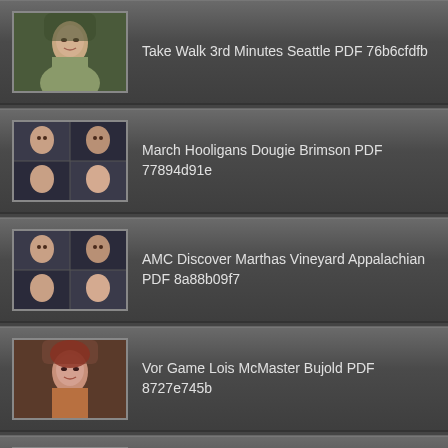Take Walk 3rd Minutes Seattle PDF 76b6cfdfb
March Hooligans Dougie Brimson PDF 77894d91e
AMC Discover Marthas Vineyard Appalachian PDF 8a88b09f7
Vor Game Lois McMaster Bujold PDF 8727e745b
Murderers Mausoleums Riding Between Beijing PDF 8c99df9aa